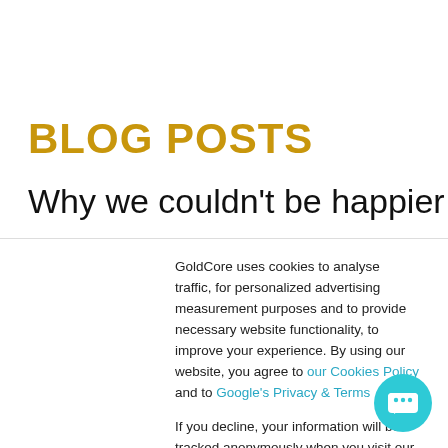BLOG POSTS
Why we couldn't be happier that
GoldCore uses cookies to analyse traffic, for personalized advertising measurement purposes and to provide necessary website functionality, to improve your experience. By using our website, you agree to our Cookies Policy and to Google's Privacy & Terms
If you decline, your information will be tracked anonymously when you visit our website. In addition to necessary cookies, a single cookie will be used in your browser to remember your preference not to be tracked.
Cookies settings | Accept All | Decline All